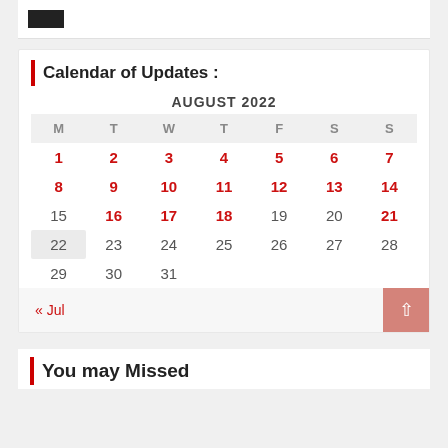Calendar of Updates :
| M | T | W | T | F | S | S |
| --- | --- | --- | --- | --- | --- | --- |
| 1 | 2 | 3 | 4 | 5 | 6 | 7 |
| 8 | 9 | 10 | 11 | 12 | 13 | 14 |
| 15 | 16 | 17 | 18 | 19 | 20 | 21 |
| 22 | 23 | 24 | 25 | 26 | 27 | 28 |
| 29 | 30 | 31 |  |  |  |  |
« Jul
You may Missed